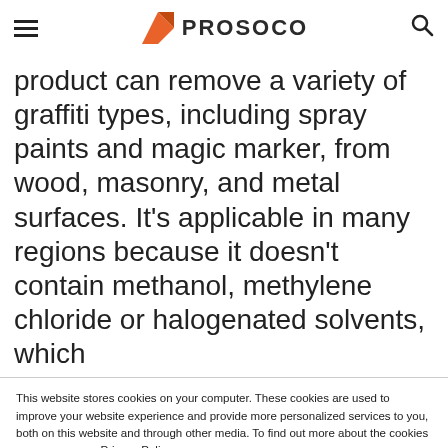PROSOCO
product can remove a variety of graffiti types, including spray paints and magic marker, from wood, masonry, and metal surfaces. It’s applicable in many regions because it doesn’t contain methanol, methylene chloride or halogenated solvents, which
This website stores cookies on your computer. These cookies are used to improve your website experience and provide more personalized services to you, both on this website and through other media. To find out more about the cookies we use, see our Privacy Policy.
We won’t track your information when you visit our site. But in order to comply with your preferences, we’ll have to use just one tiny cookie so that you’re not asked to make this choice again.
Accept | Decline